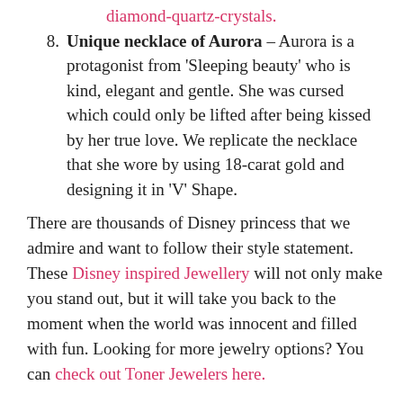diamond-quartz-crystals.
Unique necklace of Aurora – Aurora is a protagonist from 'Sleeping beauty' who is kind, elegant and gentle. She was cursed which could only be lifted after being kissed by her true love. We replicate the necklace that she wore by using 18-carat gold and designing it in 'V' Shape.
There are thousands of Disney princess that we admire and want to follow their style statement. These Disney inspired Jewellery will not only make you stand out, but it will take you back to the moment when the world was innocent and filled with fun. Looking for more jewelry options? You can check out Toner Jewelers here.